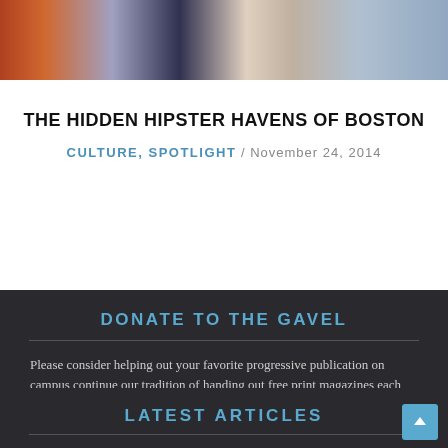[Figure (photo): A cropped photo strip showing several people wearing colorful patterned clothing, cut off at the top of the page.]
THE HIDDEN HIPSTER HAVENS OF BOSTON
CULTURE, SPOTLIGHT / NOVEMBER 24, 2014
DONATE TO THE GAVEL
Please consider helping out your favorite progressive publication on campus continue our tradition of handing out free print magazines each semester by making a donation. All contributions are valued! Thank you!
Donate
LATEST ARTICLES